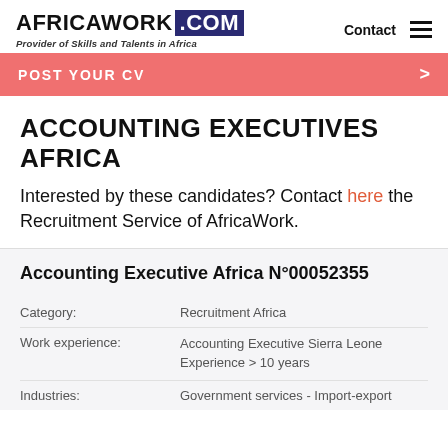AFRICAWORK .COM — Provider of Skills and Talents in Africa | Contact
[Figure (other): POST YOUR CV banner button with salmon/coral background and right arrow]
ACCOUNTING EXECUTIVES AFRICA
Interested by these candidates? Contact here the Recruitment Service of AfricaWork.
Accounting Executive Africa N°00052355
Category: Recruitment Africa
Work experience: Accounting Executive Sierra Leone Experience > 10 years
Industries: Government services - Import-export